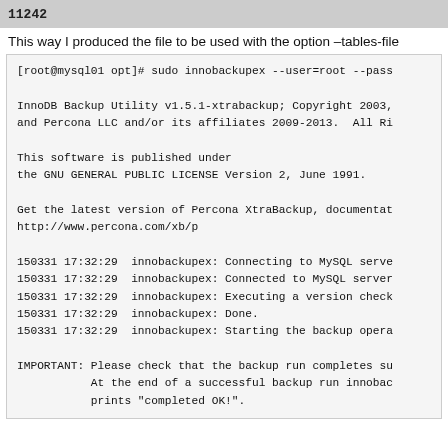11242
This way I produced the file to be used with the option –tables-file
[root@mysql01 opt]# sudo innobackupex --user=root --pass

InnoDB Backup Utility v1.5.1-xtrabackup; Copyright 2003,
and Percona LLC and/or its affiliates 2009-2013.  All Ri

This software is published under
the GNU GENERAL PUBLIC LICENSE Version 2, June 1991.

Get the latest version of Percona XtraBackup, documentat
http://www.percona.com/xb/p

150331 17:32:29  innobackupex: Connecting to MySQL serve
150331 17:32:29  innobackupex: Connected to MySQL server
150331 17:32:29  innobackupex: Executing a version check
150331 17:32:29  innobackupex: Done.
150331 17:32:29  innobackupex: Starting the backup opera

IMPORTANT: Please check that the backup run completes su
           At the end of a successful backup run innobac
           prints "completed OK!".